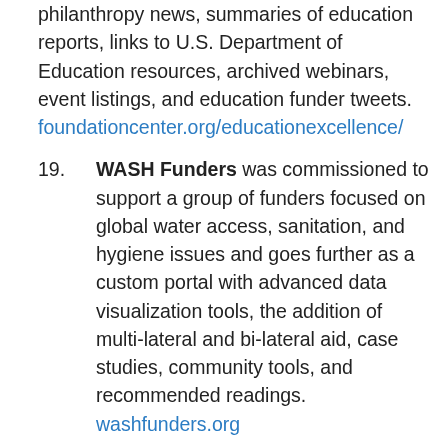philanthropy news, summaries of education reports, links to U.S. Department of Education resources, archived webinars, event listings, and education funder tweets. foundationcenter.org/educationexcellence/
19. WASH Funders was commissioned to support a group of funders focused on global water access, sanitation, and hygiene issues and goes further as a custom portal with advanced data visualization tools, the addition of multi-lateral and bi-lateral aid, case studies, community tools, and recommended readings. washfunders.org
20. BMA Funders supports those working to promote positive outcomes for black male achievement in the U.S. This portal includes a mapping tool, a timeline of philanthropic milestones, an outcomes toolkit, and a